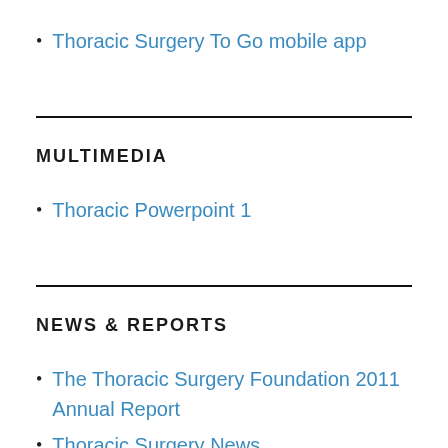Thoracic Surgery To Go mobile app
MULTIMEDIA
Thoracic Powerpoint 1
NEWS & REPORTS
The Thoracic Surgery Foundation 2011 Annual Report
Thoracic Surgery News
USA Physicians Salary Report by Specialty 2011